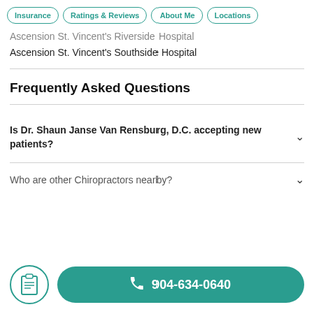Insurance | Ratings & Reviews | About Me | Locations
Ascension St. Vincent's Riverside Hospital
Ascension St. Vincent's Southside Hospital
Frequently Asked Questions
Is Dr. Shaun Janse Van Rensburg, D.C. accepting new patients?
Who are other Chiropractors nearby?
904-634-0640